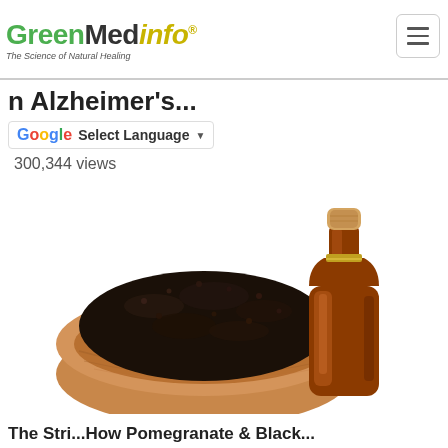GreenMedinfo - The Science of Natural Healing
...n Alzheimer's...
300,344 views
[Figure (photo): A wooden bowl filled with black seeds (black cumin/nigella sativa) next to a small amber glass bottle of essential oil with a cork stopper, on a white background.]
The Stri...How Pomegranate & Black...